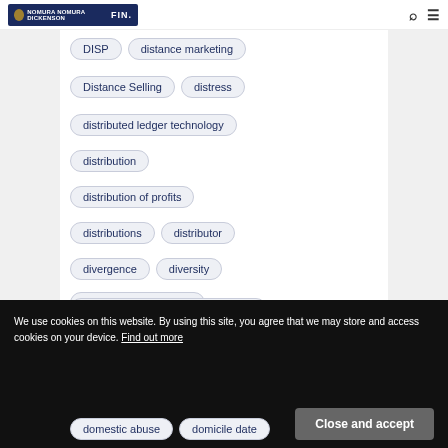NOMURA NOMURA DICKENSON | FIN.
DISP
distance marketing
Distance Selling
distress
distributed ledger technology
distribution
distribution of profits
distributions
distributor
divergence
diversity
Diversity and inclusion
dividend arbitrage trading schemes
We use cookies on this website. By using this site, you agree that we may store and access cookies on your device. Find out more
Close and accept
domestic abuse
domicile date